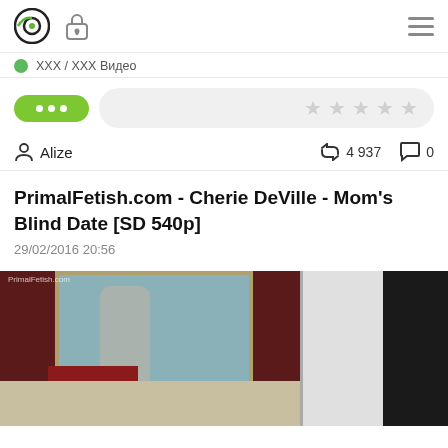Navigation bar with logo, lock icon, and hamburger menu
XXX / XXX Видео
[Figure (screenshot): Green pill button with three dots and star rating bar]
Alize   4 937   0
PrimalFetish.com - Cherie DeVille - Mom's Blind Date [SD 540p]
29/02/2016 20:56
[Figure (photo): Screenshot of a bathroom scene with dark red curtains, mirror, and sink area. Right side shows dark panel with door.]